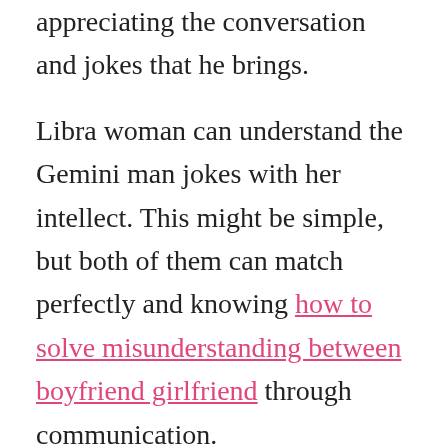appreciating the conversation and jokes that he brings.
Libra woman can understand the Gemini man jokes with her intellect. This might be simple, but both of them can match perfectly and knowing how to solve misunderstanding between boyfriend girlfriend through communication.
She is a smart person too, and because of this both of them have no problem in communicating to each other. Rather than